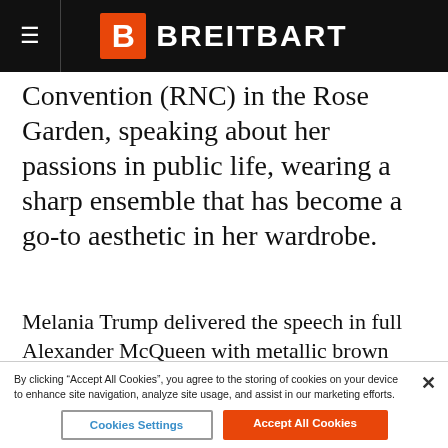BREITBART
Convention (RNC) in the Rose Garden, speaking about her passions in public life, wearing a sharp ensemble that has become a go-to aesthetic in her wardrobe.
Melania Trump delivered the speech in full Alexander McQueen with metallic brown Christian Louboutin stilettos.
advertisement
[Figure (photo): Portrait photo of a woman with short dark hair]
Photos of Suzanne Pleshette That Went Too Far
Historybyday
By clicking "Accept All Cookies", you agree to the storing of cookies on your device to enhance site navigation, analyze site usage, and assist in our marketing efforts.
Cookies Settings
Accept All Cookies